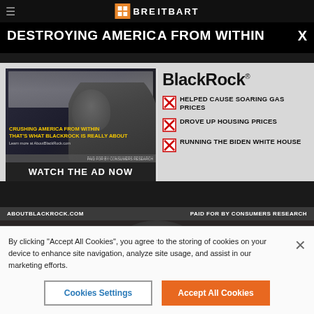BREITBART
DESTROYING AMERICA FROM WITHIN
[Figure (screenshot): Advertisement screenshot showing a man in front of the White House with yellow text 'CRUSHING AMERICA FROM WITHIN THAT'S WHAT BLACKROCK IS REALLY ABOUT' and a 'WATCH THE AD NOW' button]
BlackRock
HELPED CAUSE SOARING GAS PRICES
DROVE UP HOUSING PRICES
RUNNING THE BIDEN WHITE HOUSE
ABOUTBLACKROCK.COM   PAID FOR BY CONSUMERS RESEARCH
By clicking "Accept All Cookies", you agree to the storing of cookies on your device to enhance site navigation, analyze site usage, and assist in our marketing efforts.
Cookies Settings
Accept All Cookies